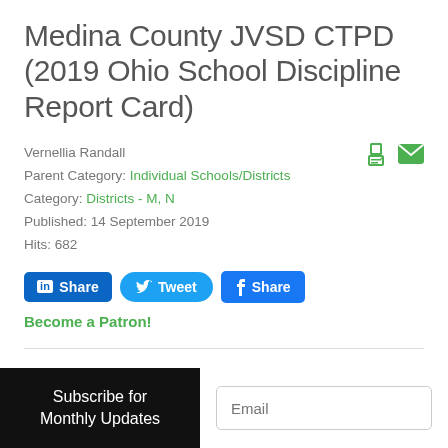Medina County JVSD CTPD (2019 Ohio School Discipline Report Card)
Vernellia Randall
Parent Category: Individual Schools/Districts
Category: Districts - M, N
Published: 14 September 2019
Hits: 682
Share  Tweet  Share
Become a Patron!
Subscribe for Monthly Updates
Email